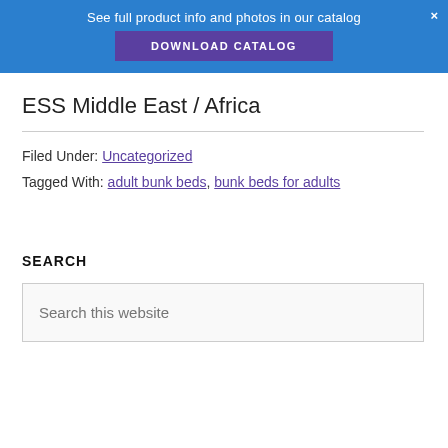See full product info and photos in our catalog
DOWNLOAD CATALOG
ESS Middle East / Africa
Filed Under: Uncategorized
Tagged With: adult bunk beds, bunk beds for adults
SEARCH
Search this website